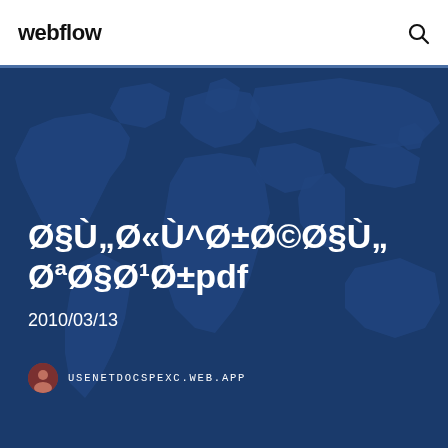webflow
[Figure (illustration): World map background on dark blue hero section]
Ø§Ù„Ø«Ù^Ø±Ø©Ø§Ù„ØªØ§Ø¹Ø±pdf
2010/03/13
USENETDOCSPEXC.WEB.APP